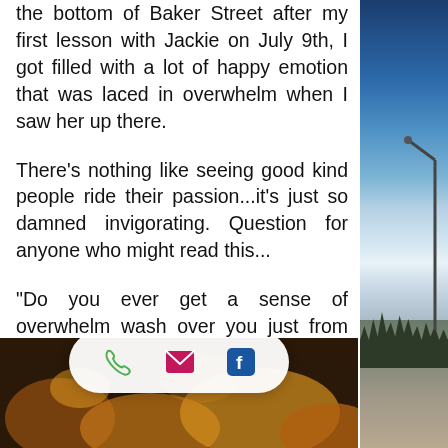the bottom of Baker Street after my first lesson with Jackie on July 9th, I got filled with a lot of happy emotion that was laced in overwhelm when I saw her up there.
There's nothing like seeing good kind people ride their passion...it's just so damned invigorating. Question for anyone who might read this...
"Do you ever get a sense of overwhelm wash over you just from watching someone else immersed in their bliss?"
The human spectrum is so fascinating!
[Figure (photo): Partial view of a road scene with blue sky, clouds, a street light, trees, and gravel road on the right side of the page]
[Figure (photo): Bottom strip showing a warm-toned autumn/floral image with a contact bar overlay containing phone, email, and Facebook icons]